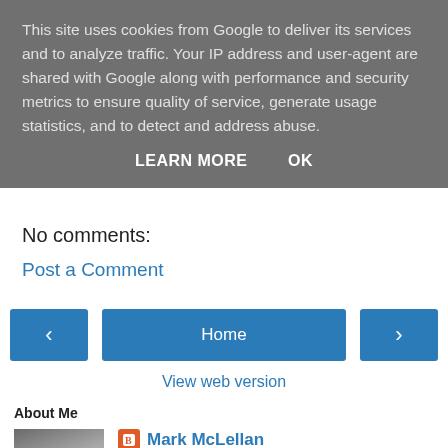This site uses cookies from Google to deliver its services and to analyze traffic. Your IP address and user-agent are shared with Google along with performance and security metrics to ensure quality of service, generate usage statistics, and to detect and address abuse.
LEARN MORE    OK
No comments:
Post a Comment
‹   Home   ›
View web version
About Me
Mark McLellan
Sixty-something retired IT consultant living in Penrith, UK and Cisternino, Italy. Married to Mary and